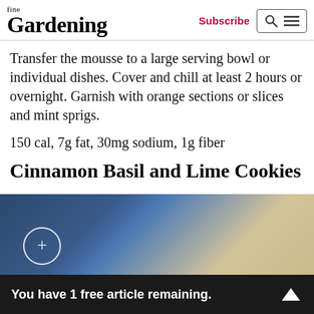fine Gardening | Subscribe
Transfer the mousse to a large serving bowl or individual dishes. Cover and chill at least 2 hours or overnight. Garnish with orange sections or slices and mint sprigs.
150 cal, 7g fat, 30mg sodium, 1g fiber
Cinnamon Basil and Lime Cookies
[Figure (photo): Close-up photo of dark blue folded fabric or cloth against a light beige background, with a circular plus icon overlay on the left side]
You have 1 free article remaining.